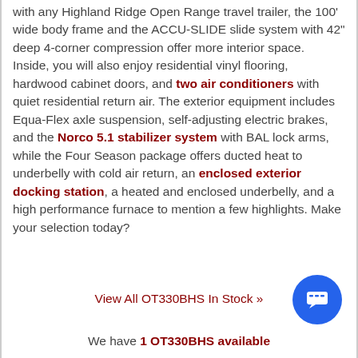with any Highland Ridge Open Range travel trailer, the 100' wide body frame and the ACCU-SLIDE slide system with 42" deep 4-corner compression offer more interior space.  Inside, you will also enjoy residential vinyl flooring, hardwood cabinet doors, and two air conditioners with quiet residential return air. The exterior equipment includes Equa-Flex axle suspension, self-adjusting electric brakes, and the Norco 5.1 stabilizer system with BAL lock arms, while the Four Season package offers ducted heat to underbelly with cold air return, an enclosed exterior docking station, a heated and enclosed underbelly, and a high performance furnace to mention a few highlights. Make your selection today?
View All OT330BHS In Stock »
We have 1 OT330BHS available